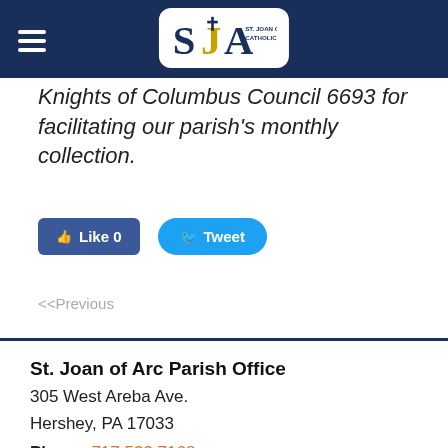St. Joan of Arc Catholic Church
Knights of Columbus Council 6693 for facilitating our parish's monthly collection.
[Figure (screenshot): Facebook Like button showing count 0 and Twitter Tweet button]
<<Previous
St. Joan of Arc Parish Office
305 West Areba Ave.
Hershey, PA 17033
Phone: 717.533.7168